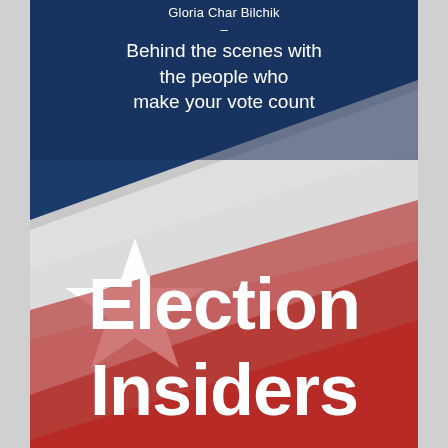Gloria Char Bilchik
–
Behind the scenes with the people who make your vote count
[Figure (photo): Close-up photograph of an American flag showing red, white, and blue sections with a white star visible, draped diagonally across the cover]
Election Insiders